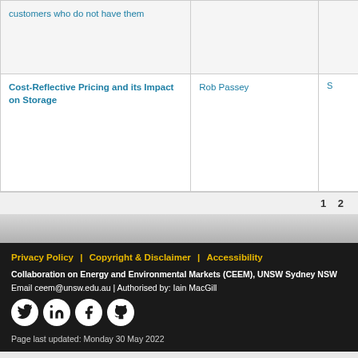| Title | Author | S |
| --- | --- | --- |
| customers who do not have them |  |  |
| Cost-Reflective Pricing and its Impact on Storage | Rob Passey | S |
1  2
Privacy Policy | Copyright & Disclaimer | Accessibility
Collaboration on Energy and Environmental Markets (CEEM), UNSW Sydney NSW
Email ceem@unsw.edu.au | Authorised by: Iain MacGill
Page last updated: Monday 30 May 2022